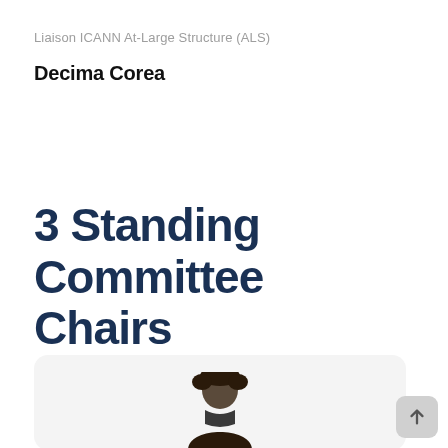Liaison ICANN At-Large Structure (ALS)
Decima Corea
3 Standing Committee Chairs
[Figure (photo): Photo card with rounded corners showing a person's head/shoulders at the bottom, on a light grey background]